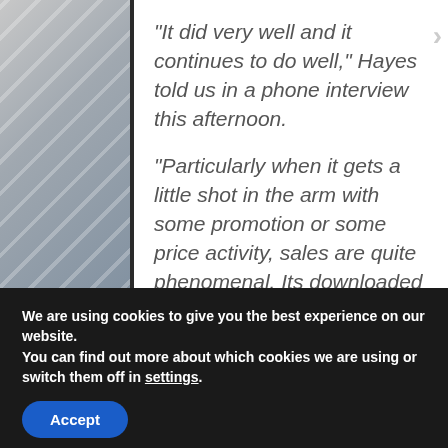“It did very well and it continues to do well,” Hayes told us in a phone interview this afternoon.
“Particularly when it gets a little shot in the arm with some promotion or some price activity, sales are quite phenomenal. Its downloaded clearly over a million units, so its sold particularly well and continues to sell.”
We are using cookies to give you the best experience on our website.
You can find out more about which cookies we are using or switch them off in settings.